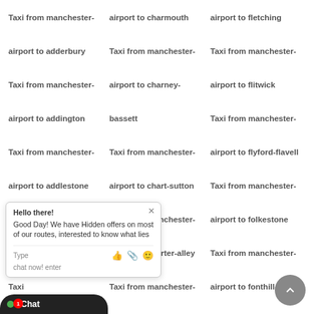Taxi from manchester-airport to charmouth
airport to fletching
airport to adderbury
Taxi from manchester-
Taxi from manchester-
Taxi from manchester-airport to charney-bassett
airport to flitwick
airport to addington
Taxi from manchester-
Taxi from manchester-airport to flyford-flavell
Taxi from manchester-airport to chart-sutton
Taxi from manchester-
airport to addlestone
airport to folkestone
Taxi from manchester-
Taxi from manchester-airport to charter-alley
Taxi from manchester-
airport to fonthill-bishop
Taxi from manchester-
Taxi from manchester-airport to chartham-hatch
Taxi from manchester-
airport to fontmell-